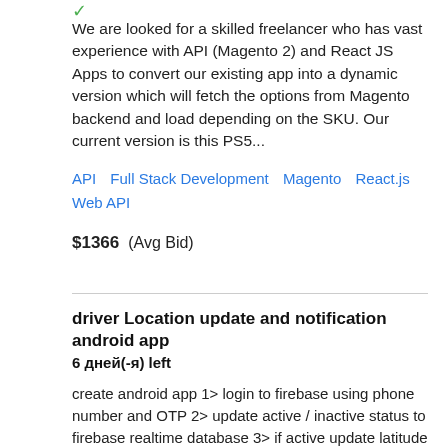[Figure (other): Green checkmark icon at top left]
We are looked for a skilled freelancer who has vast experience with API (Magento 2) and React JS Apps to convert our existing app into a dynamic version which will fetch the options from Magento backend and load depending on the SKU. Our current version is this PS5...
API   Full Stack Development   Magento   React.js   Web API
$1366  (Avg Bid)
driver Location update and notification android app  6 дней(-я) left
create android app 1> login to firebase using phone number and OTP 2> update active / inactive status to firebase realtime database 3> if active update latitude longitude at specific interval of 5 minutes to firebase realtime database 4> if active detect change on specific...
Android   Google Firebase   Java   JavaScript   Mobile App